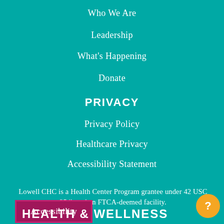Who We Are
Leadership
What's Happening
Donate
PRIVACY
Privacy Policy
Healthcare Privacy
Accessibility Statement
Lowell CHC is a Health Center Program grantee under 42 USC 254b and an FTCA-deemed facility.
Accessibility
HEALTH & WELLNESS